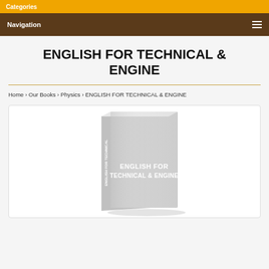Categories
Navigation
ENGLISH FOR TECHNICAL & ENGINE
Home › Our Books › Physics › ENGLISH FOR TECHNICAL & ENGINE
[Figure (photo): Book cover showing 'ENGLISH FOR TECHNICAL & ENGINE' title on a gray book with 3D perspective effect]